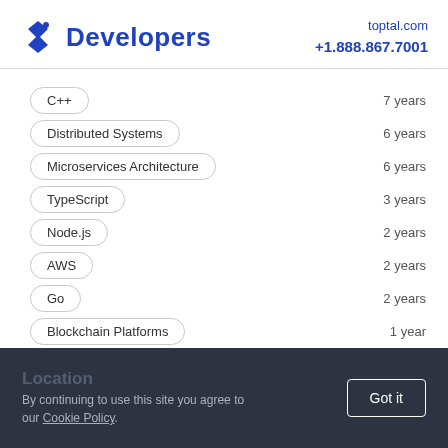Developers | toptal.com +1.888.867.7001
C++ — 7 years
Distributed Systems — 6 years
Microservices Architecture — 6 years
TypeScript — 3 years
Node.js — 2 years
AWS — 2 years
Go — 2 years
Blockchain Platforms — 1 year
Location
By continuing to use this site you agree to our Cookie Policy.